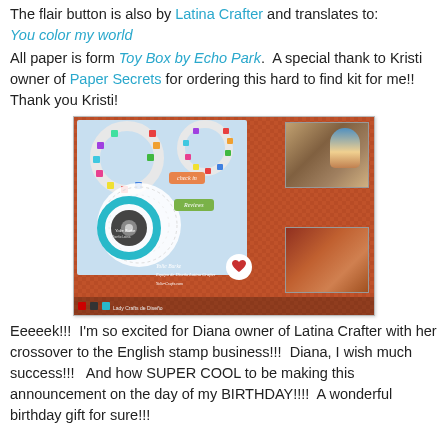The flair button is also by Latina Crafter and translates to: You color my world
All paper is form Toy Box by Echo Park. A special thank to Kristi owner of Paper Secrets for ordering this hard to find kit for me!! Thank you Kristi!
[Figure (photo): A scrapbook layout featuring a blue patterned background with colorful circle/viewfinder motifs, a doily, teal ring embellishment, orange and green label stickers reading 'check in' and 'Reviews', two photos of people in the upper right and lower right corners, a heart embellishment, and a handwritten signature reading 'Yolie Burke, Equipo de Diseño Latina Crafter'.]
Eeeeek!!! I'm so excited for Diana owner of Latina Crafter with her crossover to the English stamp business!!! Diana, I wish much success!!! And how SUPER COOL to be making this announcement on the day of my BIRTHDAY!!!! A wonderful birthday gift for sure!!!